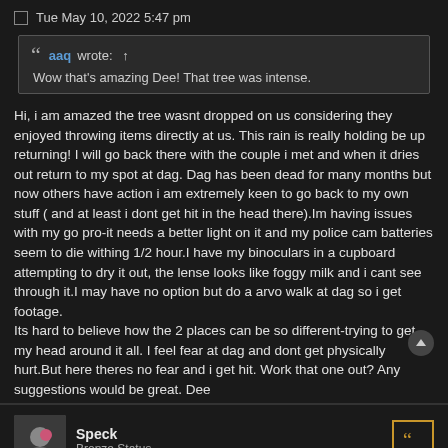Tue May 10, 2022 5:47 pm
aaq wrote: ↑
Wow that's amazing Dee! That tree was intense.
Hi, i am amazed the tree wasnt dropped on us considering they enjoyed throwing items directly at us. This rain is really holding be up returning! I will go back there with the couple i met and when it dries out return to my spot at dag. Dag has been dead for many months but now others have action i am extremely keen to go back to my own stuff ( and at least i dont get hit in the head there).Im having issues with my go pro-it needs a better light on it and my police cam batteries seem to die withing 1/2 hour.I have my binoculars in a cupboard attempting to dry it out, the lense looks like foggy milk and i cant see through it.I may have no option but do a arvo walk at dag so i get footage.
Its hard to believe how the 2 places can be so different-trying to get my head around it all. I feel fear at dag and dont get physically hurt.But here theres no fear and i get hit. Work that one out? Any suggestions would be great. Dee
Speck
Bronze Status